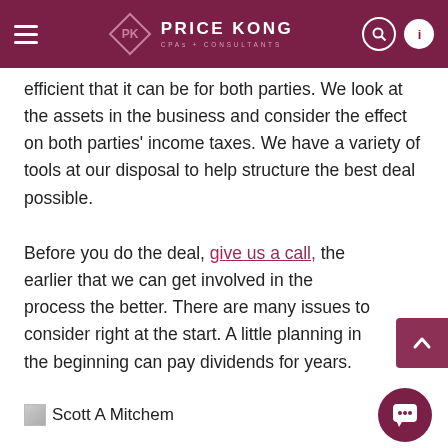Price Kong CPAs + Consultants
efficient that it can be for both parties. We look at the assets in the business and consider the effect on both parties' income taxes. We have a variety of tools at our disposal to help structure the best deal possible.
Before you do the deal, give us a call, the earlier that we can get involved in the process the better. There are many issues to consider right at the start. A little planning in the beginning can pay dividends for years.
Scott A Mitchem